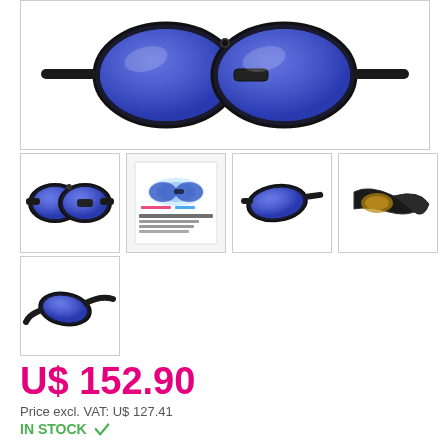[Figure (photo): Main product photo of black sunglasses with blue mirrored lenses, shown from front/top angle against white background]
[Figure (photo): Thumbnail 1: Black sunglasses with blue lenses, front view]
[Figure (photo): Thumbnail 2: Product box/packaging with water splash and feature icons]
[Figure (photo): Thumbnail 3: Black sunglasses with blue lenses, side angle view]
[Figure (photo): Thumbnail 4: Black sunglasses, side/back angle view showing curved frame]
[Figure (photo): Thumbnail 5: Black sunglasses with blue lenses, angled side view]
U$ 152.90
Price excl. VAT: U$ 127.41
IN STOCK